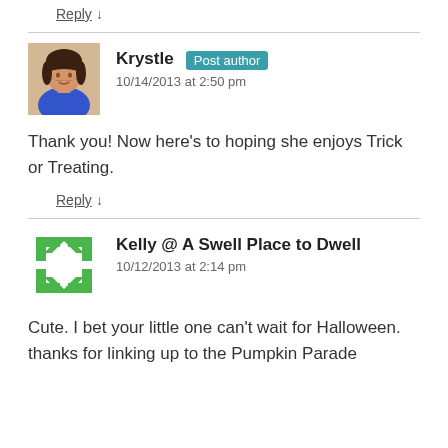Reply ↓
Krystle Post author
10/14/2013 at 2:50 pm
Thank you! Now here's to hoping she enjoys Trick or Treating.
Reply ↓
Kelly @ A Swell Place to Dwell
10/12/2013 at 2:14 pm
Cute. I bet your little one can't wait for Halloween. thanks for linking up to the Pumpkin Parade